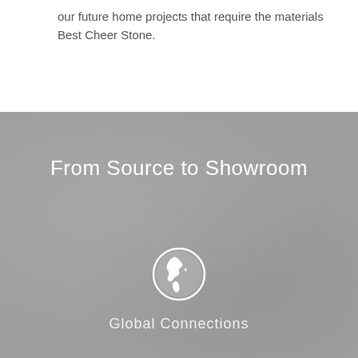our future home projects that require the materials Best Cheer Stone.
From Source to Showroom
[Figure (illustration): White globe/earth icon showing Americas, inside a circular outline, on a grey stone-textured background]
Global Connections